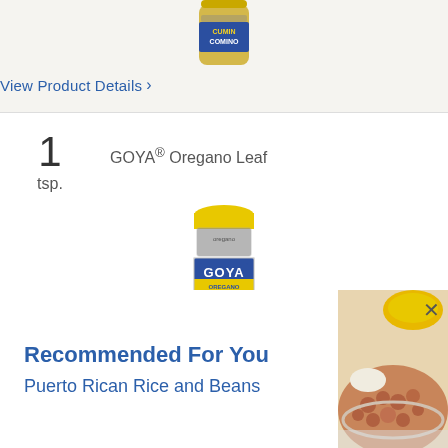[Figure (photo): Goya Cumin (Comino) spice jar, partially visible at top of page]
View Product Details >
1 tsp. GOYA® Oregano Leaf
[Figure (photo): Goya Oregano Leaf spice jar with yellow lid]
Recommended For You
Puerto Rican Rice and Beans
[Figure (photo): Bowl of Puerto Rican Rice and Beans with side dishes, partially visible on right side]